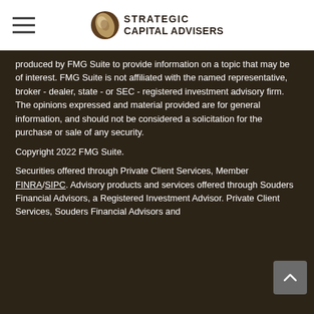Strategic Capital Advisers
produced by FMG Suite to provide information on a topic that may be of interest. FMG Suite is not affiliated with the named representative, broker - dealer, state - or SEC - registered investment advisory firm. The opinions expressed and material provided are for general information, and should not be considered a solicitation for the purchase or sale of any security.
Copyright 2022 FMG Suite.
Securities offered through Private Client Services, Member FINRA/SIPC. Advisory products and services offered through Souders Financial Advisors, a Registered Investment Advisor. Private Client Services, Souders Financial Advisors and